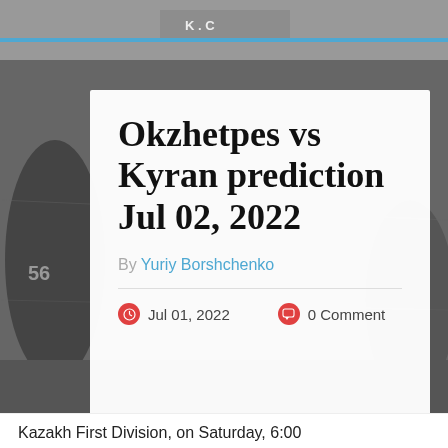[Figure (photo): Black and white vintage American football game photo with players on field, K.C. scoreboard visible in background]
Okzhetpes vs Kyran prediction Jul 02, 2022
By Yuriy Borshchenko
Jul 01, 2022   0 Comment
Kazakh First Division, on Saturday, 6:00